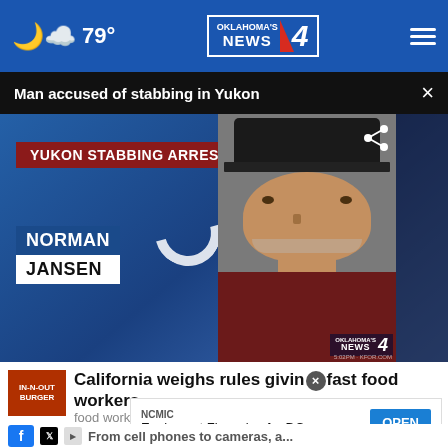79° Oklahoma's News 4
Man accused of stabbing in Yukon ×
[Figure (screenshot): News broadcast screenshot showing 'YUKON STABBING ARREST' red banner, name plate 'NORMAN JANSEN', and a photo of a man in a black cap. Oklahoma's News 4 watermark visible.]
California weighs rules giving fast food workers ...
NCMIC
Equipment Financing for DCs   OPEN